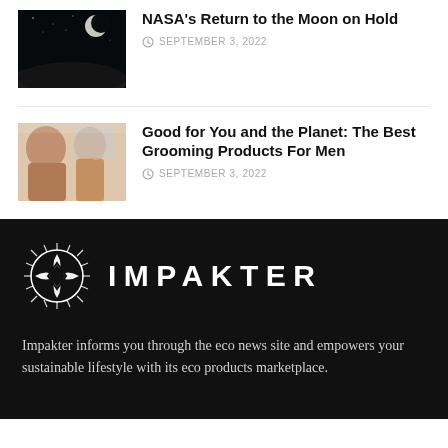[Figure (photo): Dark image of the moon surface with crescent moon in sky]
NASA's Return to the Moon on Hold
SEPTEMBER 3, 2022
[Figure (photo): Two men in bathroom, one touching face, grooming context]
Good for You and the Planet: The Best Grooming Products For Men
SEPTEMBER 3, 2022
[Figure (logo): Impakter logo — decorative circular emblem with leaf/diamond pattern and wordmark IMPAKTER in white on black background]
Impakter informs you through the eco news site and empowers your sustainable lifestyle with its eco products marketplace.